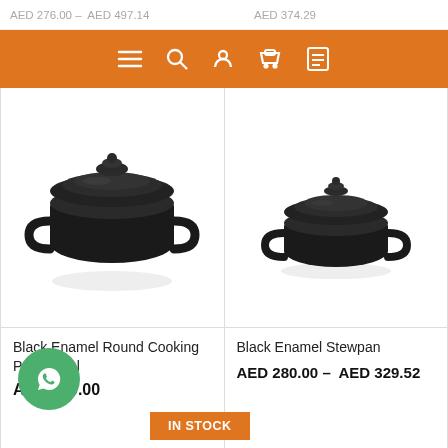AED 276.00 – AED 497.14    AED 374.29
[Figure (screenshot): Orange navigation bar with hamburger menu, search, user, cart, and list icons]
[Figure (photo): Black enamel round cooking pot with lid, 750 ml]
Black Enamel Round Cooking Pot 750 ml
AED 340.00
[Figure (photo): Black enamel stewpan with lid]
Black Enamel Stewpan
AED 280.00 – AED 329.52
[Figure (other): WhatsApp chat button (green circle with WhatsApp icon)]
IN STOCK